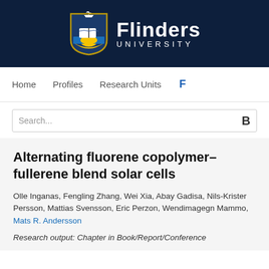[Figure (logo): Flinders University logo with shield and ship crest on dark navy background banner]
Home   Profiles   Research Units   F
Search...
Alternating fluorene copolymer–fullerene blend solar cells
Olle Inganas, Fengling Zhang, Wei Xia, Abay Gadisa, Nils-Krister Persson, Mattias Svensson, Eric Perzon, Wendimagegn Mammo, Mats R. Andersson
Research output: Chapter in Book/Report/Conference